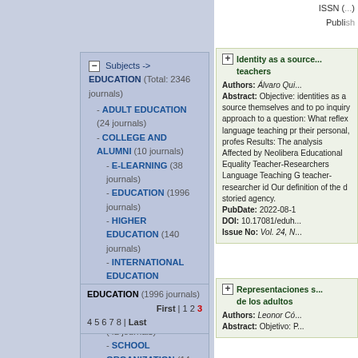ISSN (...) Publish...
Subjects -> EDUCATION (Total: 2346 journals)
- ADULT EDUCATION (24 journals)
- COLLEGE AND ALUMNI (10 journals)
- E-LEARNING (38 journals)
- EDUCATION (1996 journals)
- HIGHER EDUCATION (140 journals)
- INTERNATIONAL EDUCATION PROGRAMS (4 journals)
- ONLINE EDUCATION (42 journals)
- SCHOOL ORGANIZATION (14 journals)
- SPECIAL EDUCATION AND REHABILITATION (40 journals)
- TEACHING METHODS AND CURRICULUM (38 journals)
EDUCATION (1996 journals)   First | 1 2 3 4 5 6 7 8 | Last
Identity as a source... teachers
Authors: Álvaro Qui... Abstract: Objective: identities as a source themselves and to po inquiry approach to a question: What reflex language teaching pr their personal, profes Results: The analysis Affected by Neolibera Educational Equality Teacher-Researchers Language Teaching G teacher-researcher id Our definition of the d storied agency. PubDate: 2022-08-1 DOI: 10.17081/eduh Issue No: Vol. 24, N
Representaciones s de los adultos
Authors: Leonor Có Abstract: Objetivo: P